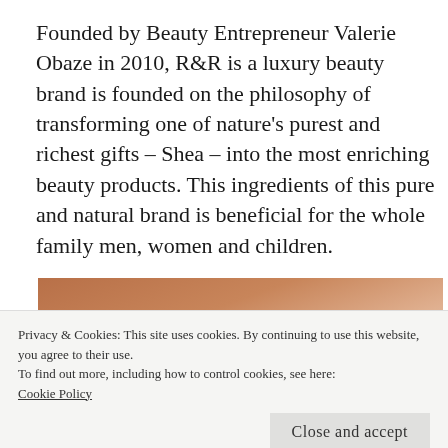Founded by Beauty Entrepreneur Valerie Obaze in 2010, R&R is a luxury beauty brand is founded on the philosophy of transforming one of nature's purest and richest gifts – Shea – into the most enriching beauty products. This ingredients of this pure and natural brand is beneficial for the whole family men, women and children.
[Figure (photo): Photo partially visible showing a shea-related product or ingredient with brown/tan tones, partially obscured by cookie banner. Bottom shows text in white letters on dark background.]
Privacy & Cookies: This site uses cookies. By continuing to use this website, you agree to their use.
To find out more, including how to control cookies, see here:
Cookie Policy
Close and accept